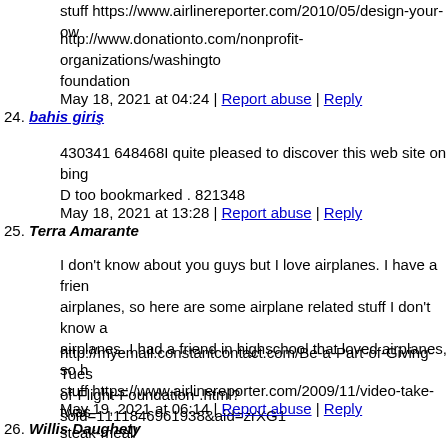stuff https://www.airlinereporter.com/2010/05/design-your-ow
http://www.donationto.com/nonprofit-organizations/washingto foundation
May 18, 2021 at 04:24 | Report abuse | Reply
24. bahis giriş
430341 648468I quite pleased to discover this web site on bing D too bookmarked . 821348
May 18, 2021 at 13:28 | Report abuse | Reply
25. Terra Amarante
I don't know about you guys but I love airplanes. I have a frien airplanes, so here are some airplane related stuff I don't know a airplanes. I had a friend in highschool that loved airplanes, so h stuff https://www.airlinereporter.com/2009/11/video-take-twas steak-meal/
http://myemail.constantcontact.com/Be-a-Part-of-Giving-Tues of-Flight-Foundation-.html?soid=1111846961938&aid=zrXG1
May 19, 2021 at 06:14 | Report abuse | Reply
26. Willis Daughety